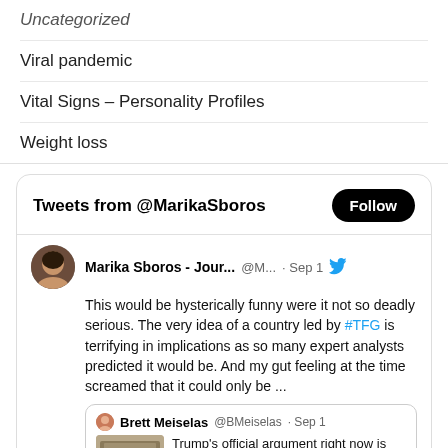Uncategorized
Viral pandemic
Vital Signs – Personality Profiles
Weight loss
[Figure (screenshot): Twitter/X widget showing tweets from @MarikaSboros. Header shows 'Tweets from @MarikaSboros' with a Follow button. Tweet by Marika Sboros - Jour... @M... Sep 1 with bird icon: 'This would be hysterically funny were it not so deadly serious. The very idea of a country led by #TFG is terrifying in implications as so many expert analysts predicted it would be. And my gut feeling at the time screamed that it could only be ...' with a quoted tweet from Brett Meiselas @BMeiselas Sep 1: 'Trump's official argument right now is literally if a suspect looked at this photo of evidence' with an image of money/evidence bags.]